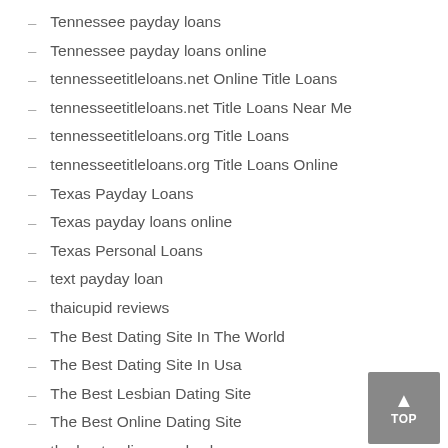Tennessee payday loans
Tennessee payday loans online
tennesseetitleloans.net Online Title Loans
tennesseetitleloans.net Title Loans Near Me
tennesseetitleloans.org Title Loans
tennesseetitleloans.org Title Loans Online
Texas Payday Loans
Texas payday loans online
Texas Personal Loans
text payday loan
thaicupid reviews
The Best Dating Site In The World
The Best Dating Site In Usa
The Best Lesbian Dating Site
The Best Online Dating Site
the best online payday loans